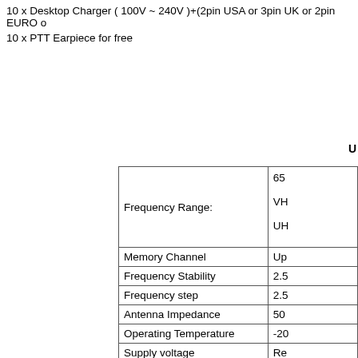10 x Desktop Charger ( 100V ~ 240V )+(2pin USA or 3pin UK or 2pin EURO o...
10 x PTT Earpiece for free
U...
| Parameter | Value |
| --- | --- |
| Frequency Range: | 65...
VH...
UH... |
| Memory Channel | Up... |
| Frequency Stability | 2.5... |
| Frequency step | 2.5... |
| Antenna Impedance | 50... |
| Operating Temperature | -20... |
| Supply voltage | Re... |
| Combination in standby | 38... |
| Combination in transmission | ≤1... |
| Mode of operation | Si... |